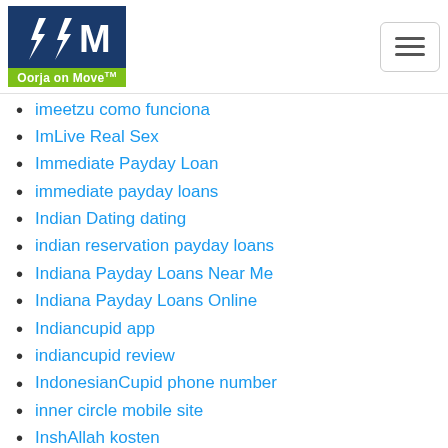Oorja on Move
imeetzu como funciona
ImLive Real Sex
Immediate Payday Loan
immediate payday loans
Indian Dating dating
indian reservation payday loans
Indiana Payday Loans Near Me
Indiana Payday Loans Online
Indiancupid app
indiancupid review
IndonesianCupid phone number
inner circle mobile site
InshAllah kosten
installment loan app
installment loans
installment loans com